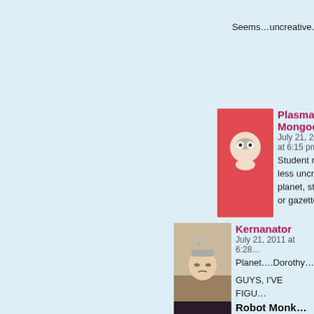Seems…uncreative.
Plasma Mongoose
July 21, 2011 at 6:15 pm
Student no less uncre… planet, star or gazette…
Kernanator
July 21, 2011 at 6:28…
Planet….Dorothy…
GUYS, I'VE FIGU…
Robot Monk…
July 21, 2011 at…
Well of course…
Kernanat…
July 21, 201…
Sorry, that…